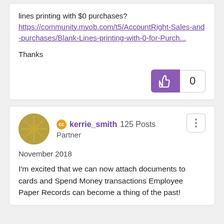lines printing with $0 purchases?
https://community.myob.com/t5/AccountRight-Sales-and-purchases/Blank-Lines-printing-with-0-for-Purch...
Thanks
0
kerrie_smith  125 Posts
Partner
November 2018
I'm excited that we can now attach documents to cards and Spend Money transactions Employee Paper Records can become a thing of the past!